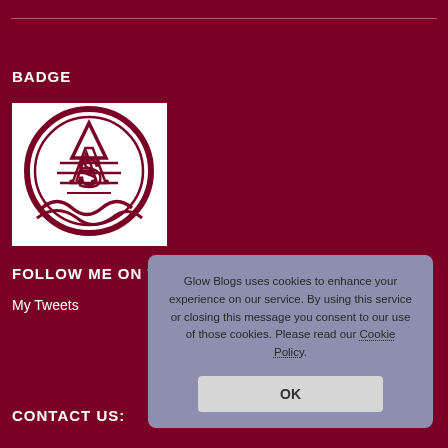BADGE
[Figure (logo): Circular school badge/crest with stylized letters A and S intertwined, dark red on white background]
FOLLOW ME ON TWITTER
My Tweets
Glow Blogs uses cookies to enhance your experience on our service. By using this service or closing this message you consent to our use of those cookies. Please read our Cookie Policy.
OK
CONTACT US: